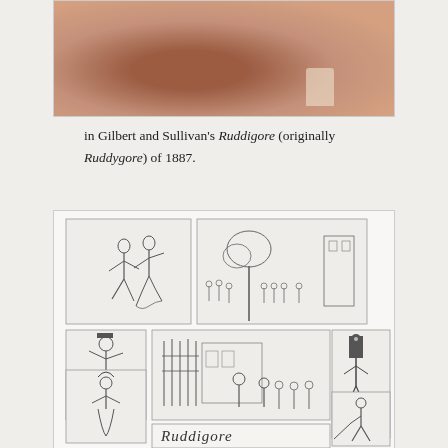[Figure (photo): Partial photograph (cropped top) showing a brown furry costume or animal, with a white rectangular element visible at the lower right, sepia-toned photograph]
in Gilbert and Sullivan's Ruddigore (originally Ruddygore) of 1887.
[Figure (illustration): Black and white illustration collage for Ruddigore by Gilbert and Sullivan, showing multiple panels: dancing couple, crowd scene outside a building, a single male figure tipping hat, a woman in costume, a large central scene with figures in a courtyard or garden, a soldier figure on the right, another figure below, and the title 'Ruddigore' at the bottom in stylized script.]